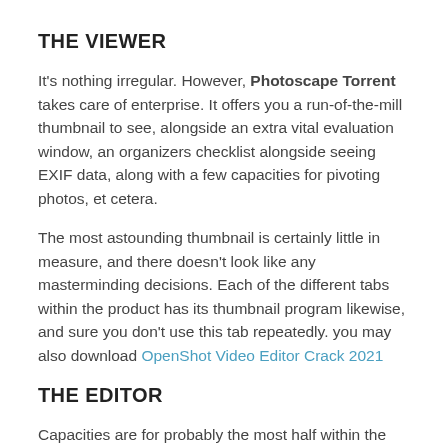THE VIEWER
It's nothing irregular. However, Photoscape Torrent takes care of enterprise. It offers you a run-of-the-mill thumbnail to see, alongside an extra vital evaluation window, an organizers checklist alongside seeing EXIF data, along with a few capacities for pivoting photos, et cetera.
The most astounding thumbnail is certainly little in measure, and there doesn't look like any masterminding decisions. Each of the different tabs within the product has its thumbnail program likewise, and sure you don't use this tab repeatedly. you may also download OpenShot Video Editor Crack 2021
THE EDITOR
Capacities are for probably the most half within the